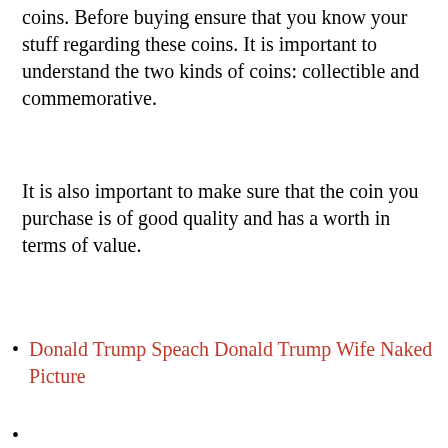coins. Before buying ensure that you know your stuff regarding these coins. It is important to understand the two kinds of coins: collectible and commemorative.
It is also important to make sure that the coin you purchase is of good quality and has a worth in terms of value.
Donald Trump Speach Donald Trump Wife Naked Picture
(partially visible at bottom)